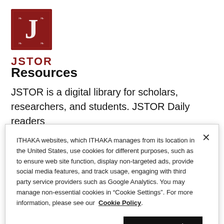[Figure (logo): JSTOR logo: red square with ornate J letterform, and JSTOR wordmark in red below]
Resources
JSTOR is a digital library for scholars, researchers, and students. JSTOR Daily readers can access the original research behind our
ITHAKA websites, which ITHAKA manages from its location in the United States, use cookies for different purposes, such as to ensure web site function, display non-targeted ads, provide social media features, and track usage, engaging with third party service providers such as Google Analytics. You may manage non-essential cookies in “Cookie Settings”. For more information, please see our  Cookie Policy.
Cookie Settings
OK, proceed